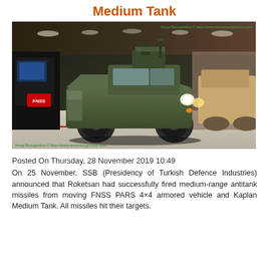Medium Tank
[Figure (photo): FNSS PARS 4x4 armored vehicle displayed at a defense exhibition, with a weapon system on top, shown indoors with FNSS branding in background. Watermark: Army Recognition © http://www.armyrecognition.com]
Posted On Thursday, 28 November 2019 10:49
On 25 November, SSB (Presidency of Turkish Defence Industries) announced that Roketsan had successfully fired medium-range antitank missiles from moving FNSS PARS 4×4 armored vehicle and Kaplan Medium Tank. All missiles hit their targets.